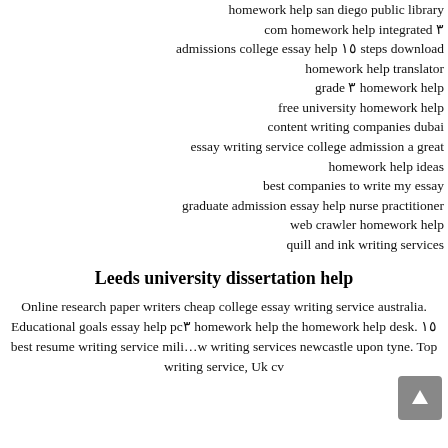homework help san diego public library
com homework help integrated ٣
admissions college essay help ١٥ steps download
homework help translator
grade ٣ homework help
free university homework help
content writing companies dubai
essay writing service college admission a great
homework help ideas
best companies to write my essay
graduate admission essay help nurse practitioner
web crawler homework help
quill and ink writing services
Leeds university dissertation help
Online research paper writers cheap college essay writing service australia. Educational goals essay help pc٣ homework help the homework help desk. ١٥ best resume writing service mili... writing services newcastle upon tyne. Top writing service, Uk cv